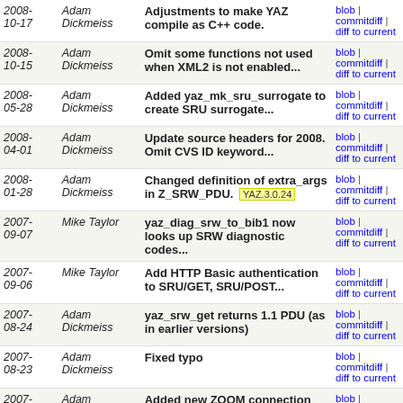| Date | Author | Message | Links |
| --- | --- | --- | --- |
| 2008-10-17 | Adam Dickmeiss | Adjustments to make YAZ compile as C++ code. | blob | commitdiff | diff to current |
| 2008-10-15 | Adam Dickmeiss | Omit some functions not used when XML2 is not enabled... | blob | commitdiff | diff to current |
| 2008-05-28 | Adam Dickmeiss | Added yaz_mk_sru_surrogate to create SRU surrogate... | blob | commitdiff | diff to current |
| 2008-04-01 | Adam Dickmeiss | Update source headers for 2008. Omit CVS ID keyword... | blob | commitdiff | diff to current |
| 2008-01-28 | Adam Dickmeiss | Changed definition of extra_args in Z_SRW_PDU. YAZ.3.0.24 | blob | commitdiff | diff to current |
| 2007-09-07 | Mike Taylor | yaz_diag_srw_to_bib1 now looks up SRW diagnostic codes... | blob | commitdiff | diff to current |
| 2007-09-06 | Mike Taylor | Add HTTP Basic authentication to SRU/GET, SRU/POST... | blob | commitdiff | diff to current |
| 2007-08-24 | Adam Dickmeiss | yaz_srw_get returns 1.1 PDU (as in earlier versions) | blob | commitdiff | diff to current |
| 2007-08-23 | Adam Dickmeiss | Fixed typo | blob | commitdiff | diff to current |
| 2007-08-23 | Adam Dickmeiss | Added new ZOOM connection option "sru_version" which... | blob | commitdiff | diff to current |
| 2007-05-24 | Adam Dickmeiss | Function encode_uri_char does not hex encode unreserved... | blob | commitdiff | diff to current |
| 2007-05-23 | Adam Dickmeiss | Changed decoding of SRU XML packed records to deal... | blob | commitdiff | diff to current |
| 2007-05-23 | Adam Dickmeiss | For SRU responses allow Content-Type application/xml... | blob | commitdiff | diff to current |